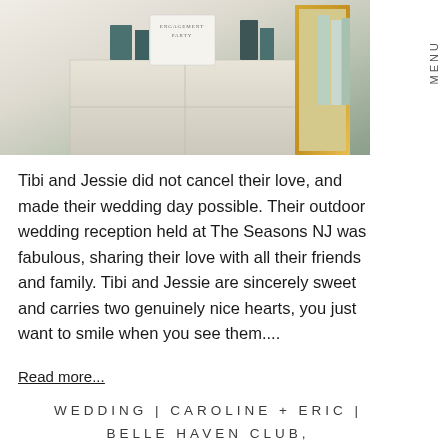[Figure (photo): Photo of engagement party invitation and decorative items on a dresser or shelf, with books and golden frame in background]
Tibi and Jessie did not cancel their love, and made their wedding day possible. Their outdoor wedding reception held at The Seasons NJ was fabulous, sharing their love with all their friends and family. Tibi and Jessie are sincerely sweet and carries two genuinely nice hearts, you just want to smile when you see them....
Read more...
WEDDING | CAROLINE + ERIC | BELLE HAVEN CLUB,